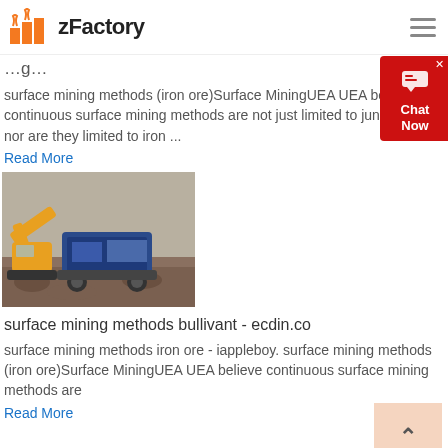zFactory
surface mining methods (iron ore)Surface MiningUEA UEA believe continuous surface mining methods are not just limited to junior miners nor are they limited to iron ...
Read More
[Figure (photo): Yellow excavator and blue crusher machinery operating at a mining or quarry site with rocky terrain]
surface mining methods bullivant - ecdin.co
surface mining methods iron ore - iappleboy. surface mining methods (iron ore)Surface MiningUEA UEA believe continuous surface mining methods are
Read More
[Figure (photo): Partial view of mining site landscape at bottom of page]